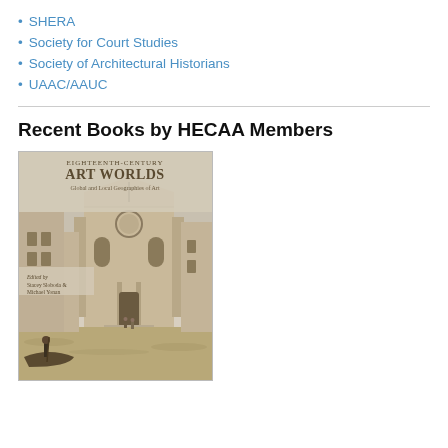SHERA
Society for Court Studies
Society of Architectural Historians
UAAC/AAUC
Recent Books by HECAA Members
[Figure (photo): Book cover of 'Eighteenth-Century Art Worlds: Global and Local Geographies of Art', edited by Stacey Sloboda & Michael Yonan. Cover shows a watercolor-style illustration of a Venetian canal scene with a classical church facade and gondoliers.]